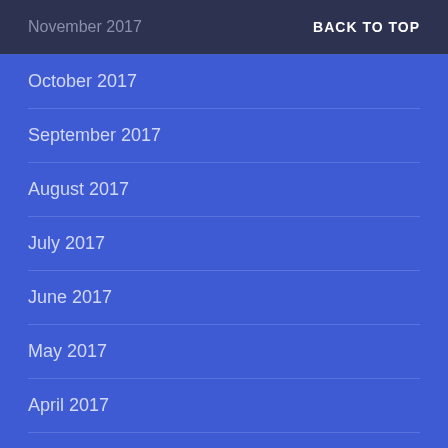November 2017    BACK TO TOP
October 2017
September 2017
August 2017
July 2017
June 2017
May 2017
April 2017
March 2017